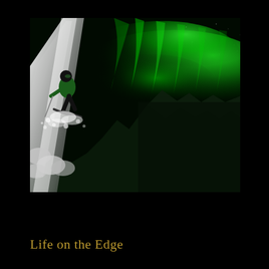[Figure (photo): A skier in a green jacket descends a steep snowy slope at night with the aurora borealis (northern lights) glowing bright green in the sky above dark rocky mountain silhouettes.]
Life on the Edge